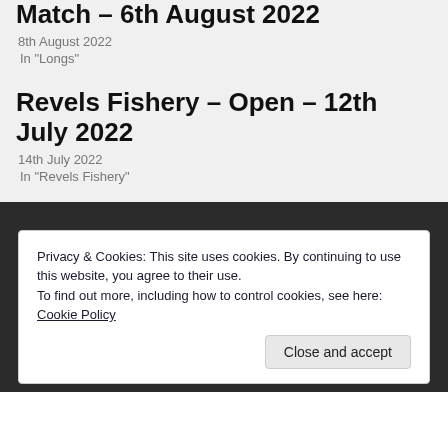Match – 6th August 2022
8th August 2022
In "Longs"
Revels Fishery – Open – 12th July 2022
14th July 2022
In "Revels Fishery"
Privacy & Cookies: This site uses cookies. By continuing to use this website, you agree to their use.
To find out more, including how to control cookies, see here: Cookie Policy